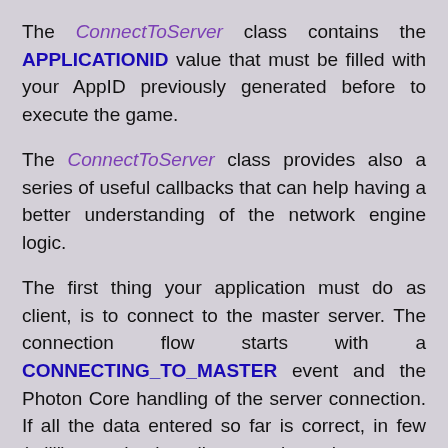The ConnectToServer class contains the APPLICATIONID value that must be filled with your AppID previously generated before to execute the game.
The ConnectToServer class provides also a series of useful callbacks that can help having a better understanding of the network engine logic.
The first thing your application must do as client, is to connect to the master server. The connection flow starts with a CONNECTING_TO_MASTER event and the Photon Core handling of the server connection. If all the data entered so far is correct, in few (milli)seconds the client receives the answer from the server as a CONNECTED_TO_MASTER